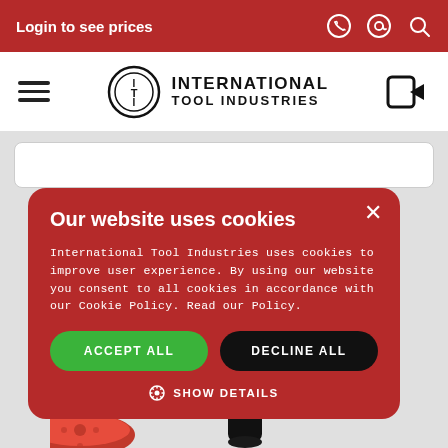Login to see prices
[Figure (logo): International Tool Industries logo with ITI emblem in circle and bold text]
Our website uses cookies
International Tool Industries uses cookies to improve user experience. By using our website you consent to all cookies in accordance with our Cookie Policy. Read our Policy.
ACCEPT ALL
DECLINE ALL
SHOW DETAILS